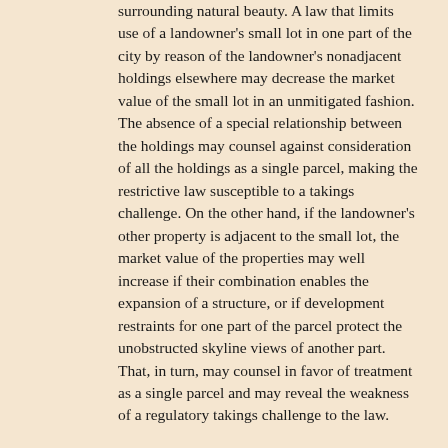surrounding natural beauty. A law that limits use of a landowner's small lot in one part of the city by reason of the landowner's nonadjacent holdings elsewhere may decrease the market value of the small lot in an unmitigated fashion. The absence of a special relationship between the holdings may counsel against consideration of all the holdings as a single parcel, making the restrictive law susceptible to a takings challenge. On the other hand, if the landowner's other property is adjacent to the small lot, the market value of the properties may well increase if their combination enables the expansion of a structure, or if development restraints for one part of the parcel protect the unobstructed skyline views of another part. That, in turn, may counsel in favor of treatment as a single parcel and may reveal the weakness of a regulatory takings challenge to the law.
Slip op. at 12-13.
We thought it would have made more sense simply to import the "three unities" test from straight takings (title, use, proximity). But instead, we get this, which appears to be a mishmash of ... whatever. In other words, the Penn Centralization of the larger parcel...